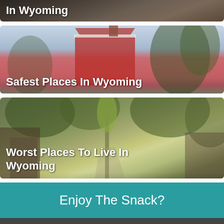[Figure (photo): Partial view of a Wyoming street/building scene, cropped at top of page showing text 'In Wyoming']
[Figure (photo): Photo of a red house with a pointed gable roof against a light sky with trees, labeled 'Safest Places In Wyoming']
[Figure (photo): Photo of a tree-lined alley or street with buildings, labeled 'Worst Places To Live In Wyoming']
Enjoy The Snack?